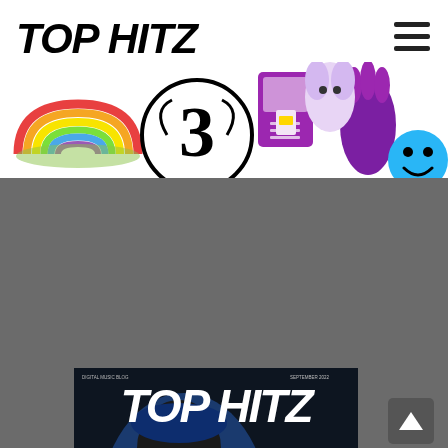TOP HITZ
[Figure (illustration): Decorative banner with colorful stickers: rainbow, '3' network logo in circle, SIM card box, purple glove/hand, blue smiley face, and unicorn/animal figure on white background]
[Figure (photo): Magazine cover for TOP HITZ, September 2022. Features a large man wearing a blue Dallas Cowboys hoodie, gold chains, sunglasses, and a gold watch, holding his jacket. Text overlays include: DANGEROUS ROB, To the Top, Global Stars, The Ultimate Music Blog Stars and New Independent Hits!, LONDONFM.DIGITAL - London's ultimate new music station. Header text: DIGITAL MUSIC BLOG, SEPTEMBER 2022.]